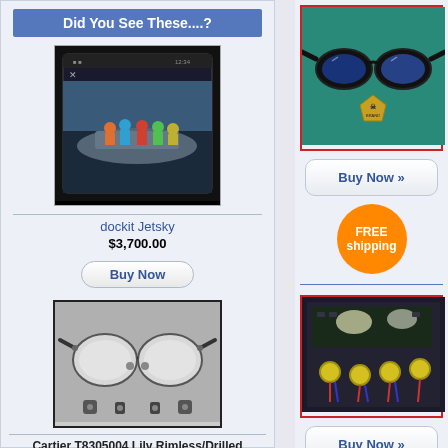Did You See These....?
[Figure (photo): Screenshot of dockit Jetsky product on a mobile phone screen]
dockit Jetsky
$3,700.00
Buy Now
[Figure (photo): Cartier T8305004 Lily Rimless/Drilled Sunglasses-Platinum/Garnet product photo in black and white]
Cartier T8305004 Lily Rimless/Drilled Sunglasses-Platinum/Garnet
[Figure (photo): Sunglasses with skull brand tag on teal background]
Buy Now »
[Figure (infographic): Orange FREE shipping badge circle]
[Figure (photo): Electronics product with yellow components on dark background]
Buy Now »